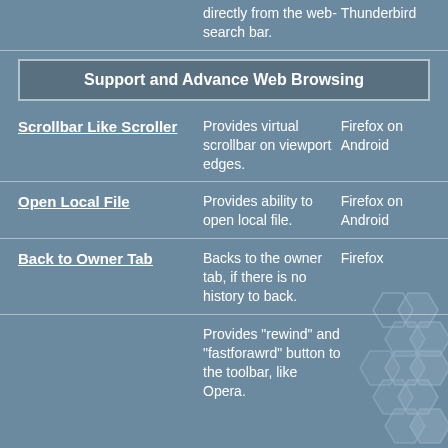directly from the web-search bar.
Thunderbird
Support and Advance Web Browsing
Scrollbar Like Scroller
Provides virtual scrollbar on viewport edges.
Firefox on Android
Open Local File
Provides ability to open local file.
Firefox on Android
Back to Owner Tab
Backs to the owner tab, if there is no history to back.
Firefox
Provides "rewind" and "fastforawrd" button to the toolbar, like Opera.